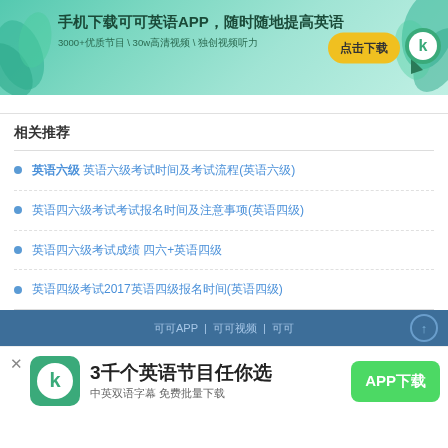[Figure (infographic): Banner advertisement for 可可英语 (KokoEnglish) app. Green teal background with leaf decorations. Main text: 手机下载可可英语APP，随时随地提高英语. Sub text: 3000+优质节目 \ 30w高清视频 \ 独创视频听力. Yellow button: 点击下载. Green K logo icon on right.]
相关推荐
英语六级 英语六级考试时间及考试流程(英语六级)
英语四六级考试考试报名时间及注意事项(英语四级)
英语四六级考试成绩 四六+英语四级
英语四级考试2017英语四级报名时间(英语四级)
[Figure (infographic): Footer navigation bar with blue background, text in Chinese and APP links. Scroll up arrow button on right.]
[Figure (infographic): Bottom app download banner. Green K logo app icon on left. Main text: 3千个英语节目任你选. Sub text: 中英双语字幕 免费批量下载. Green APP下载 button on right. X close button top left.]